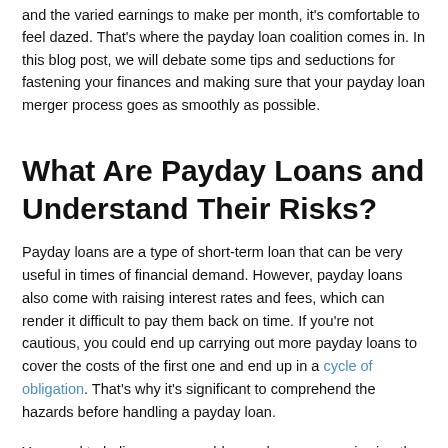and the varied earnings to make per month, it's comfortable to feel dazed. That's where the payday loan coalition comes in. In this blog post, we will debate some tips and seductions for fastening your finances and making sure that your payday loan merger process goes as smoothly as possible.
What Are Payday Loans and Understand Their Risks?
Payday loans are a type of short-term loan that can be very useful in times of financial demand. However, payday loans also come with raising interest rates and fees, which can render it difficult to pay them back on time. If you're not cautious, you could end up carrying out more payday loans to cover the costs of the first one and end up in a cycle of obligation. That's why it's significant to comprehend the hazards before handling a payday loan.
You need to believe some problems when you are viewing the